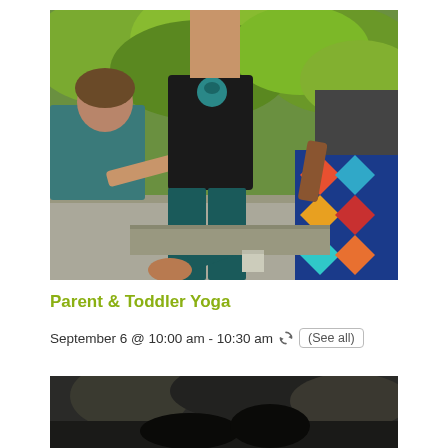[Figure (photo): Outdoor yoga class scene with three people: a child in teal shirt, an instructor in black tank top and dark teal leggings, and an adult in colorful geometric patterned pants. They appear to be doing a balancing pose, with the child holding the instructor's foot. Green trees in background.]
Parent & Toddler Yoga
September 6 @ 10:00 am - 10:30 am   (See all)
[Figure (photo): Partial bottom photo showing a dark outdoor scene, partially cropped.]